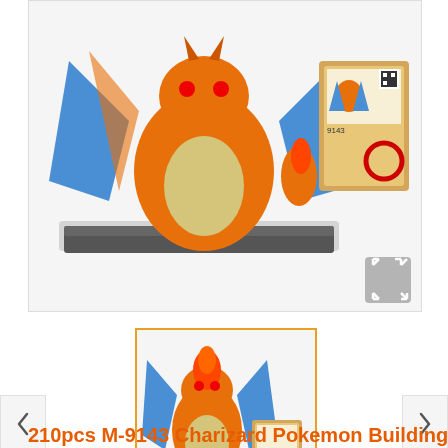[Figure (photo): Main product image showing a Charizard Pokemon building block figure (orange dragon with blue wings) assembled next to its packaging box. The block model is large and detailed, displayed on a gray base plate. The box shows the product number 9143.]
[Figure (photo): Thumbnail image with orange border showing the same Charizard Pokemon building block set from a different angle, with the assembled figure next to the product box.]
210pcs M-9143 Charizard Pokemon Building